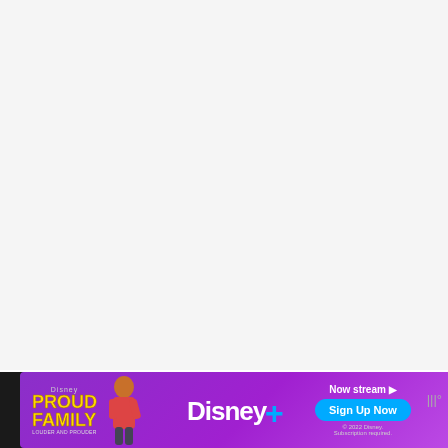[Figure (other): Large blank/white advertisement placeholder area at the top of the page]
When a food is low in acid, this means that botulism spores can grow – and this can make you really sick if you don't can your food properly. In acidic foods,
[Figure (other): Disney+ 'The Proud Family: Louder and Prouder' advertisement banner with character, Disney+ logo, 'Now stream' text, and 'Sign Up Now' button. © 2022 Disney. Subscription required.]